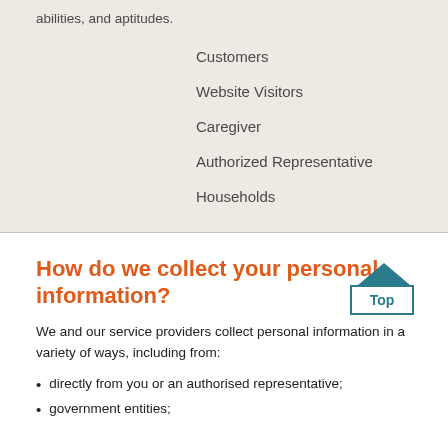abilities, and aptitudes.
Customers
Website Visitors
Caregiver
Authorized Representative
Households
How do we collect your personal information?
We and our service providers collect personal information in a variety of ways, including from:
directly from you or an authorised representative;
government entities;